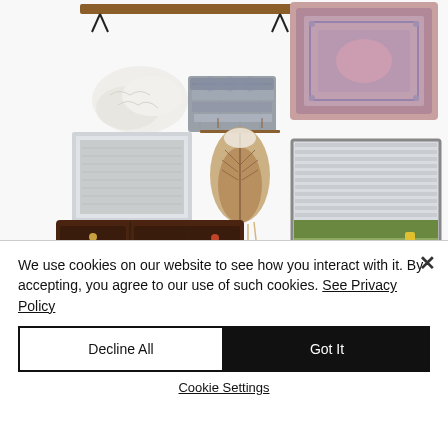[Figure (illustration): Interior design mood board collage showing: a wooden shelf with hairpin legs, a sheepskin rug, folded gray patterned blankets, a vintage-style pink/blue area rug, a framed silver abstract artwork, a woven wall hanging with feather/leaf motif, a dark wood mid-century modern sideboard/credenza, a window with venetian blinds showing garden view, and a Tara Lenney Design logo.]
We use cookies on our website to see how you interact with it. By accepting, you agree to our use of such cookies. See Privacy Policy
Decline All
Got It
Cookie Settings